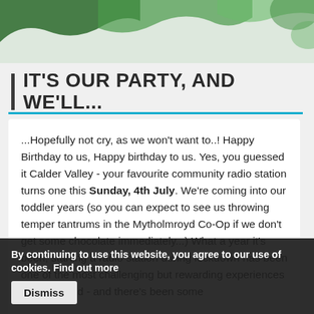[Figure (illustration): Green decorative wave/abstract shapes at top of webpage]
IT'S OUR PARTY, AND WE'LL...
...Hopefully not cry, as we won't want to..! Happy Birthday to us, Happy birthday to us. Yes, you guessed it Calder Valley - your favourite community radio station turns one this Sunday, 4th July. We're coming into our toddler years (so you can expect to see us throwing temper tantrums in the Mytholmroyd Co-Op if we don't get some chocolate immediately...) What a year it's been, starting a radio station during lockdown has been one of the most challenging but rewarding experiences we've all had - and there's been some ... From ha... Chris... ts Switch On and blowing all the lights while we were...
By continuing to use this website, you agree to our use of cookies. Find out more